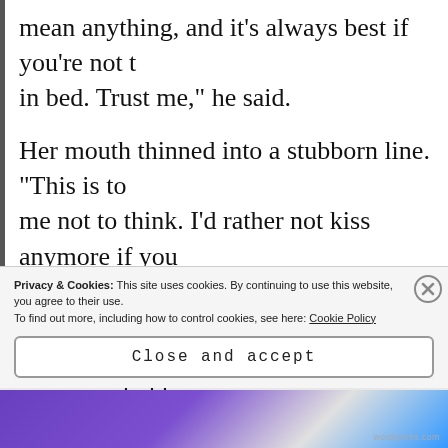mean anything, and it's always best if you're not thinking too hard in bed. Trust me," he said.
Her mouth thinned into a stubborn line. "This is telling me not to think. I'd rather not kiss anymore if you
Michael's irritation redoubled, and he forced his h before he popped all his blood vessels. How the he himself into this? Ah yes, he'd been worried about im i
Privacy & Cookies: This site uses cookies. By continuing to use this website, you agree to their use. To find out more, including how to control cookies, see here: Cookie Policy
Close and accept